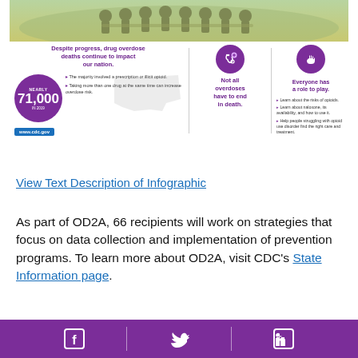[Figure (infographic): CDC infographic about drug overdose deaths. Left section shows 'Despite progress, drug overdose deaths continue to impact our nation.' with nearly 71,000 deaths in 2019, bullet points about majority involving prescription or illicit opioid and polydrug use increasing overdose risk, and www.cdc.gov link. Middle section shows stethoscope icon and 'Not all overdoses have to end in death.' Right section shows hands icon and 'Everyone has a role to play.' with bullet points about learning about opioid risks, naloxone, and helping people find care.]
View Text Description of Infographic
As part of OD2A, 66 recipients will work on strategies that focus on data collection and implementation of prevention programs. To learn more about OD2A, visit CDC's State Information page.
Facebook | Twitter | LinkedIn